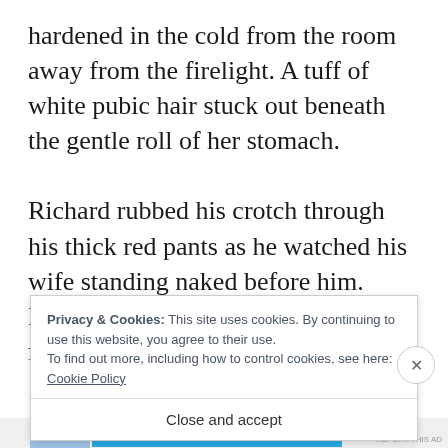hardened in the cold from the room away from the firelight. A tuff of white pubic hair stuck out beneath the gentle roll of her stomach.

Richard rubbed his crotch through his thick red pants as he watched his wife standing naked before him. Elise stood still, feeling his eyes move over every inch of her body.
Privacy & Cookies: This site uses cookies. By continuing to use this website, you agree to their use.
To find out more, including how to control cookies, see here: Cookie Policy
Close and accept